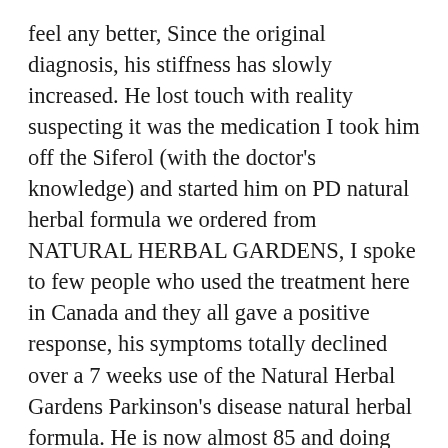feel any better, Since the original diagnosis, his stiffness has slowly increased. He lost touch with reality suspecting it was the medication I took him off the Siferol (with the doctor's knowledge) and started him on PD natural herbal formula we ordered from NATURAL HERBAL GARDENS, I spoke to few people who used the treatment here in Canada and they all gave a positive response, his symptoms totally declined over a 7 weeks use of the Natural Herbal Gardens Parkinson's disease natural herbal formula. He is now almost 85 and doing very well, the disease is totally reversed! (Visit their website naturalherbalgardens. c o m) I am thankful to nature, herbs are truly gift from God. Share with friends!!